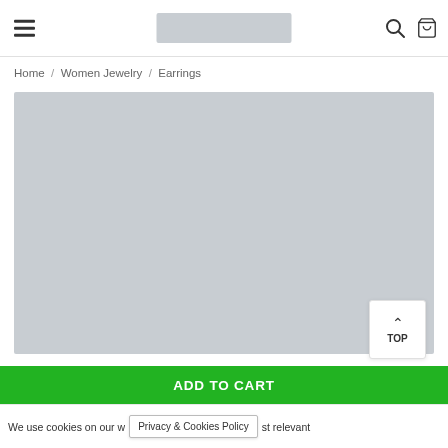Navigation header with hamburger menu, logo placeholder, search icon, and cart icon
Home / Women Jewelry / Earrings
[Figure (photo): Product image placeholder — large grey rectangle for earring product photo]
^ TOP
ADD TO CART
We use cookies on our website Privacy & Cookies Policy st relevant